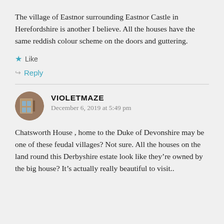The village of Eastnor surrounding Eastnor Castle in Herefordshire is another I believe. All the houses have the same reddish colour scheme on the doors and guttering.
★ Like
↪ Reply
VIOLETMAZE
December 6, 2019 at 5:49 pm
Chatsworth House , home to the Duke of Devonshire may be one of these feudal villages? Not sure. All the houses on the land round this Derbyshire estate look like they're owned by the big house? It's actually really beautiful to visit..